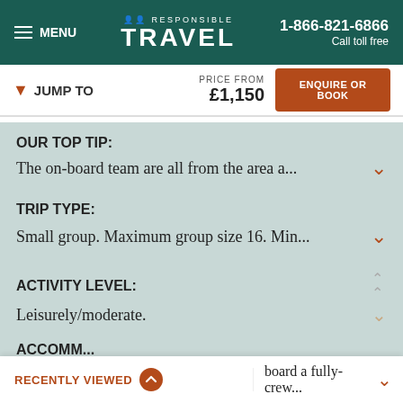MENU | RESPONSIBLE TRAVEL | 1-866-821-6866 Call toll free
▼ JUMP TO | PRICE FROM £1,150 | ENQUIRE OR BOOK
OUR TOP TIP:
The on-board team are all from the area a...
TRIP TYPE:
Small group. Maximum group size 16. Min...
ACTIVITY LEVEL:
Leisurely/moderate.
ACCOMM...
board a fully-crew...
RECENTLY VIEWED